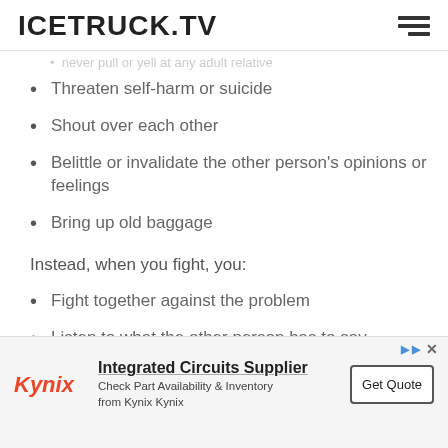ICETRUCK.TV
Threaten self-harm or suicide
Shout over each other
Belittle or invalidate the other person's opinions or feelings
Bring up old baggage
Instead, when you fight, you:
Fight together against the problem
Listen to what the other person has to say
re clear about what the problem is
[Figure (other): Advertisement banner for Kynix — Integrated Circuits Supplier with Get Quote button]